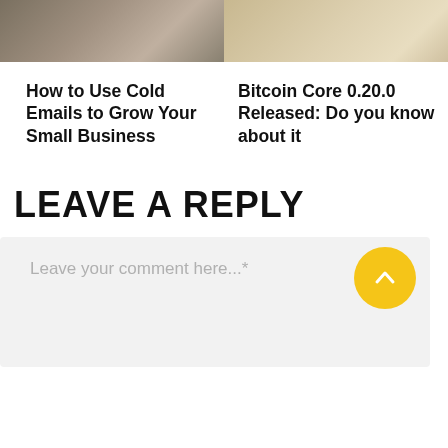[Figure (photo): Partial view of person typing on laptop computer, cropped top portion]
[Figure (photo): Partial view of Bitcoin coin on surface, cropped top portion]
How to Use Cold Emails to Grow Your Small Business
Bitcoin Core 0.20.0 Released: Do you know about it
LEAVE A REPLY
Leave your comment here...*